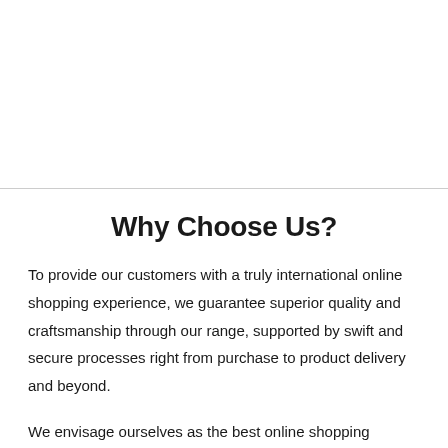Why Choose Us?
To provide our customers with a truly international online shopping experience, we guarantee superior quality and craftsmanship through our range, supported by swift and secure processes right from purchase to product delivery and beyond.
We envisage ourselves as the best online shopping experience for customers worldwide, providing rich Indian artistry through